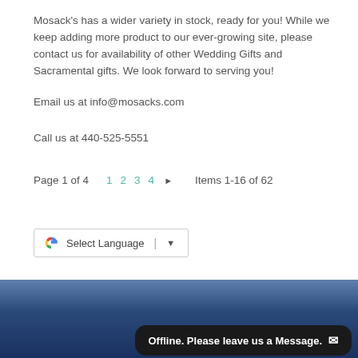Mosack's has a wider variety in stock, ready for you! While we keep adding more product to our ever-growing site, please contact us for availability of other Wedding Gifts and Sacramental gifts. We look forward to serving you!
Email us at info@mosacks.com
Call us at 440-525-5551
Page 1 of 4   1  2  3  4  ▶   Items 1-16 of 62
[Figure (screenshot): Google Translate widget with G logo, 'Select Language' text, a divider and dropdown arrow]
Offline. Please leave us a Message.